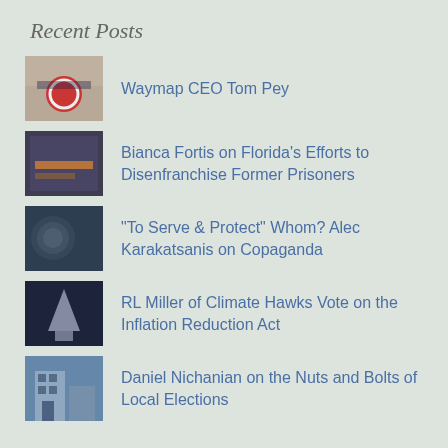Recent Posts
Waymap CEO Tom Pey
Bianca Fortis on Florida's Efforts to Disenfranchise Former Prisoners
“To Serve & Protect” Whom? Alec Karakatsanis on Copaganda
RL Miller of Climate Hawks Vote on the Inflation Reduction Act
Daniel Nichanian on the Nuts and Bolts of Local Elections